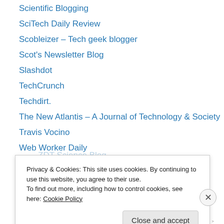Scientific Blogging
SciTech Daily Review
Scobleizer – Tech geek blogger
Scot's Newsletter Blog
Slashdot
TechCrunch
Techdirt.
The New Atlantis – A Journal of Technology & Society
Travis Vocino
Web Worker Daily
Webware
What's All This Then!
worldthinktank.net
Privacy & Cookies: This site uses cookies. By continuing to use this website, you agree to their use. To find out more, including how to control cookies, see here: Cookie Policy
Close and accept